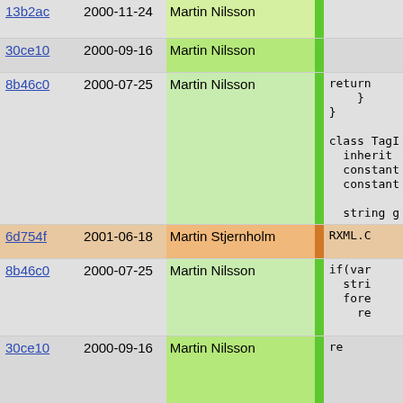| hash | date | author |  | code |
| --- | --- | --- | --- | --- |
| 13b2ac | 2000-11-24 | Martin Nilsson |  |  |
| 30ce10 | 2000-09-16 | Martin Nilsson |  |  |
| 8b46c0 | 2000-07-25 | Martin Nilsson |  | return
    }
}

class TagI
  inherit
  constant
  constant

  string g |
| 6d754f | 2001-06-18 | Martin Stjernholm |  | RXML.C |
| 8b46c0 | 2000-07-25 | Martin Nilsson |  | if(var
  stri
  fore
    re |
| 30ce10 | 2000-09-16 | Martin Nilsson |  | re |
| 8b46c0 | 2000-07-25 | Martin Nilsson |  | re
}
retu |